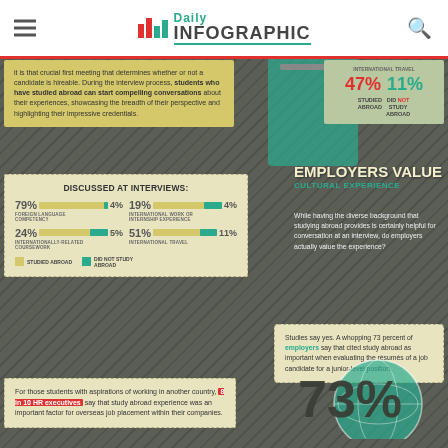Daily Infographic
it is that crucial first meeting that determines whether or not a candidate is hireable. During the interview process, students who have studied abroad can start compelling conversations about their experiences, showcasing the breadth of their perspective and highlighting their impressive credentials.
[Figure (infographic): Stats showing 47% studied abroad vs 11% did not study abroad for international travel]
EMPLOYERS VALUE CULTURAL EXPERIENCE
While having the diverse background that studying abroad provides is certainly helpful for conversation at an interview, do employers actually value the experience?
[Figure (bar-chart): DISCUSSED AT INTERVIEWS:]
Studies say yes. A whopping 73 percent of employers say that cited study abroad as important when evaluating the résumés of a job candidate for a junior-level position.
For those students with aspirations of working in another country, 8 in 10 HR executives say that study abroad experience was an important factor for overseas job placement within their companies.
[Figure (infographic): 73% large number displayed over globe illustration]